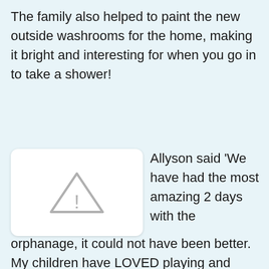The family also helped to paint the new outside washrooms for the home, making it bright and interesting for when you go in to take a shower!
[Figure (photo): Image placeholder with warning/broken image triangle icon on white rounded rectangle card]
Allyson said 'We have had the most amazing 2 days with the
orphanage, it could not have been better. My children have LOVED playing and working with the